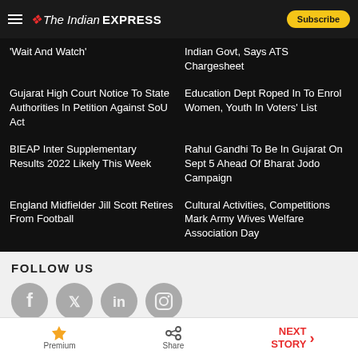The Indian Express
'Wait And Watch'
...Indian Govt, Says ATS Chargesheet
Gujarat High Court Notice To State Authorities In Petition Against SoU Act
Education Dept Roped In To Enrol Women, Youth In Voters' List
BIEAP Inter Supplementary Results 2022 Likely This Week
Rahul Gandhi To Be In Gujarat On Sept 5 Ahead Of Bharat Jodo Campaign
England Midfielder Jill Scott Retires From Football
Cultural Activities, Competitions Mark Army Wives Welfare Association Day
FOLLOW US
[Figure (other): Social media icons: Facebook, Twitter, LinkedIn, Instagram]
Premium | Share | NEXT STORY